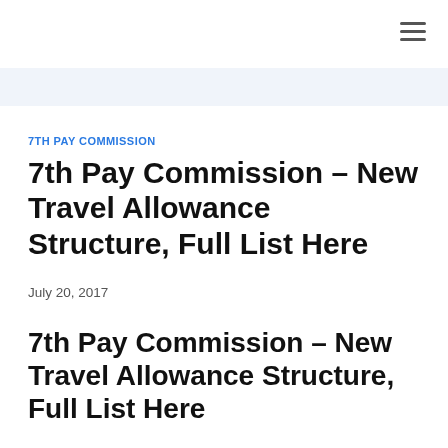7TH PAY COMMISSION
7th Pay Commission – New Travel Allowance Structure, Full List Here
July 20, 2017
7th Pay Commission – New Travel Allowance Structure, Full List Here